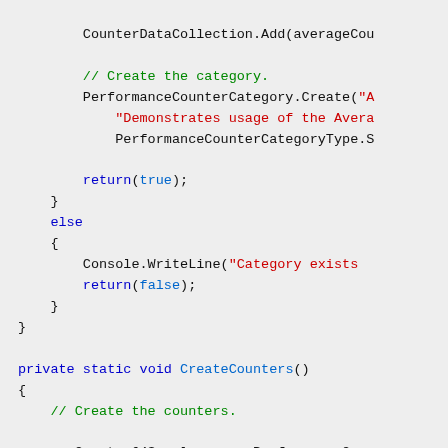Code snippet showing C# performance counter creation with CreateCounters method